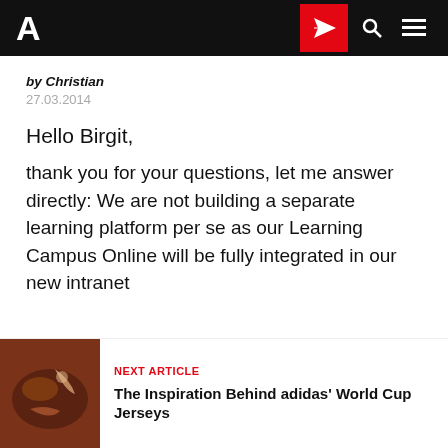A [logo] | [send icon] | [search icon] | [menu icon]
by Christian
27.03.2014
Hello Birgit,
thank you for your questions, let me answer directly: We are not building a separate learning platform per se as our Learning Campus Online will be fully integrated in our new intranet
NEXT ARTICLE
The Inspiration Behind adidas' World Cup Jerseys